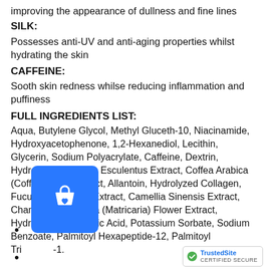improving the appearance of dullness and fine lines
SILK:
Possesses anti-UV and anti-aging properties whilst hydrating the skin
CAFFEINE:
Sooth skin redness whilse reducing inflammation and puffiness
FULL INGREDIENTS LIST:
Aqua, Butylene Glycol, Methyl Gluceth-10, Niacinamide, Hydroxyacetophenone, 1,2-Hexanediol, Lecithin, Glycerin, Sodium Polyacrylate, Caffeine, Dextrin, Hydrolyzed Hibiscus Esculentus Extract, Coffea Arabica (Coffee) Seed Extract, Allantoin, Hydrolyzed Collagen, Fucus Vesiculosus Extract, Camellia Sinensis Extract, Chamomilla Recutita (Matricaria) Flower Extract, Hydrolyzed Silk, Citric Acid, Potassium Sorbate, Sodium Benzoate, Palmitoyl Hexapeptide-12, Palmitoyl Tripeptide-1.
[Figure (illustration): Blue shopping cart button icon overlay]
[Figure (logo): TrustedSite Certified Secure badge]